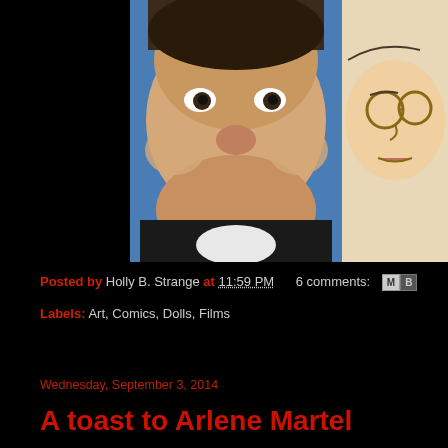[Figure (photo): Side-by-side composite image: on the left a photo of a heavyset smiling man against a blue background wearing a dark jacket, on the right a cartoon/illustrated character with glasses]
Posted by Holly B. Strange at 11:59 PM   6 comments:
Labels: Art, Comics, Dolls, Films
Wednesday, September 3, 2014
A toast to Arlene Martel